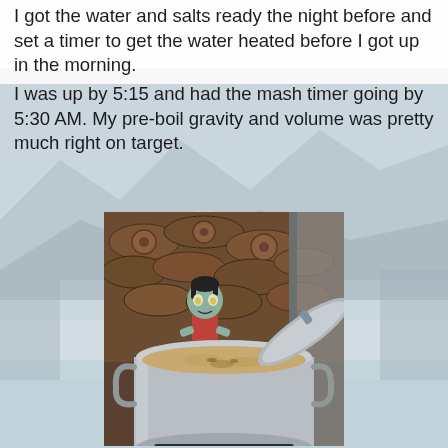I got the water and salts ready the night before and set a timer to get the water heated before I got up in the morning.
I was up by 5:15 and had the mash timer going by 5:30 AM. My pre-boil gravity and volume was pretty much right on target.
[Figure (photo): A large stainless steel brewing pot with mash/wort inside, sitting outdoors. Behind the pot is a stack of firewood and a small zombie figurine (Plants vs. Zombies style) peeking over the rim. A sliding glass door is visible on the right side.]